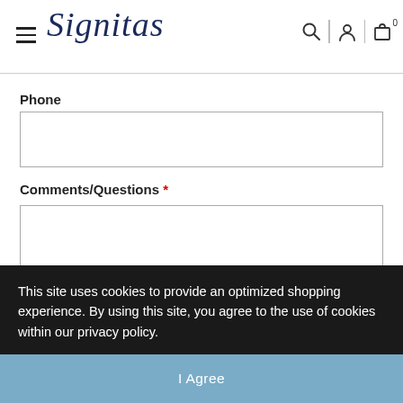Signitas
Phone
Comments/Questions *
This site uses cookies to provide an optimized shopping experience. By using this site, you agree to the use of cookies within our privacy policy.
I Agree